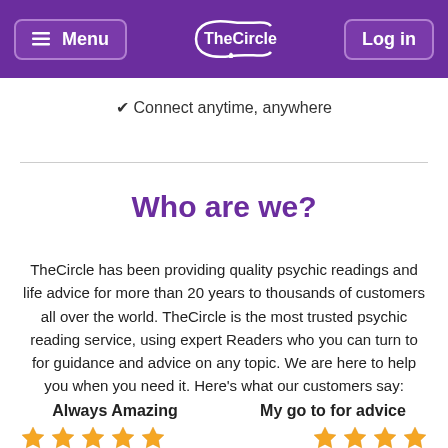Menu | TheCircle | Log in
✔ Connect anytime, anywhere
Who are we?
TheCircle has been providing quality psychic readings and life advice for more than 20 years to thousands of customers all over the world. TheCircle is the most trusted psychic reading service, using expert Readers who you can turn to for guidance and advice on any topic. We are here to help you when you need it. Here's what our customers say:
Always Amazing
My go to for advice